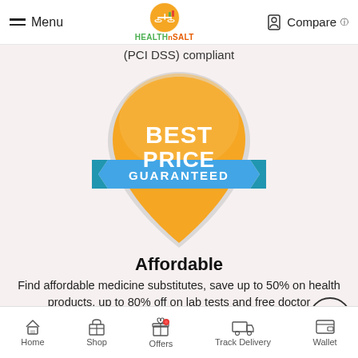Menu | HEALTH n SALT | Compare
(PCI DSS) compliant
[Figure (illustration): Best Price Guaranteed badge: orange teardrop/shield shape with white text 'BEST PRICE' and a blue ribbon banner with white text 'GUARANTEED']
Affordable
Find affordable medicine substitutes, save up to 50% on health products, up to 80% off on lab tests and free doctor consultations.
Home | Shop | Offers | Track Delivery | Wallet